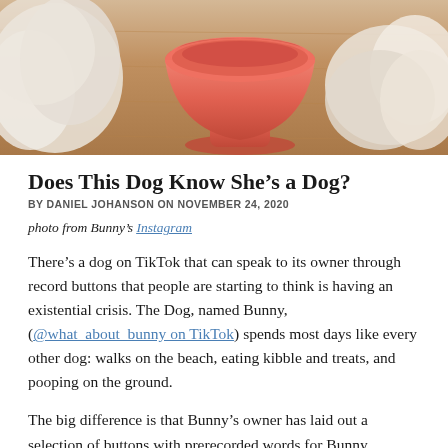[Figure (photo): Close-up photo of a coral/salmon-colored ceramic dog water bowl on a wooden floor surface, with a fluffy white object (possibly a dog toy or fur) visible to the right side.]
Does This Dog Know She’s a Dog?
BY DANIEL JOHANSON ON NOVEMBER 24, 2020
photo from Bunny’s Instagram
There’s a dog on TikTok that can speak to its owner through record buttons that people are starting to think is having an existential crisis. The Dog, named Bunny, (@what_about_bunny on TikTok) spends most days like every other dog: walks on the beach, eating kibble and treats, and pooping on the ground.
The big difference is that Bunny’s owner has laid out a selection of buttons with prerecorded words for Bunny